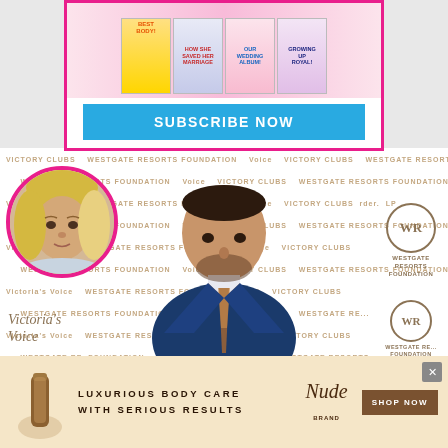[Figure (screenshot): Top advertisement banner for a celebrity/gossip magazine subscription with multiple magazine covers displayed and a 'SUBSCRIBE NOW' button in cyan/blue]
[Figure (photo): Main photo of a man in a navy blue suit with plaid tie standing in front of a step-and-repeat backdrop with Victoria's Voice, Westgate Resorts Foundation logos. Circular inset photo of a blonde woman with pink border on the left side.]
[Figure (screenshot): Bottom advertisement banner for 'Nude' body care brand with text 'LUXURIOUS BODY CARE WITH SERIOUS RESULTS' and a 'SHOP NOW' button]